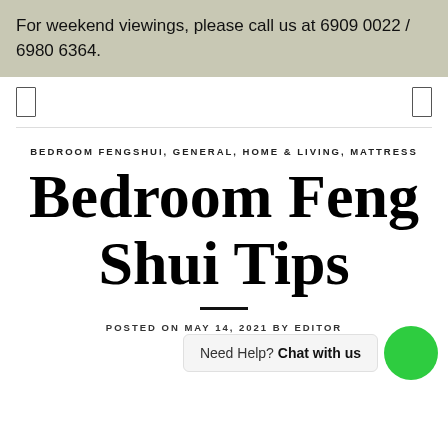For weekend viewings, please call us at 6909 0022 / 6980 6364.
BEDROOM FENGSHUI, GENERAL, HOME & LIVING, MATTRESS
Bedroom Feng Shui Tips
POSTED ON MAY 14, 2021 BY EDITOR
Need Help? Chat with us